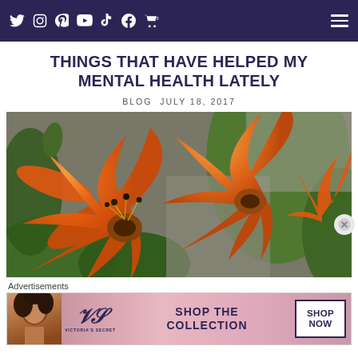Social media navigation bar with icons for Twitter, Instagram, Pinterest, YouTube, TikTok, Facebook, Cart (0), and hamburger menu
THINGS THAT HAVE HELPED MY MENTAL HEALTH LATELY
BLOG  JULY 18, 2017
[Figure (photo): Close-up photograph of vibrant orange tiger lily flowers with green foliage in background]
Advertisements
[Figure (photo): Victoria's Secret advertisement banner showing a model, VS logo, 'SHOP THE COLLECTION' text, and 'SHOP NOW' call-to-action button]